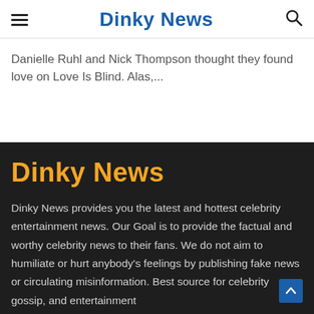Dinky News
Danielle Ruhl and Nick Thompson thought they found love on Love Is Blind. Alas,...
Dinky News
Dinky News provides you the latest and hottest celebrity entertainment news. Our Goal is to provide the factual and worthy celebrity news to their fans. We do not aim to humiliate or hurt anybody's feelings by publishing fake news or circulating misinformation. Best source for celebrity gossip, and entertainment